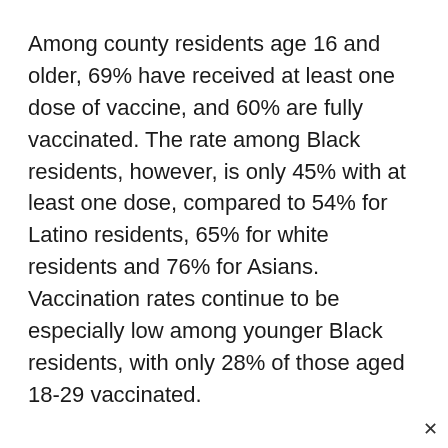Among county residents age 16 and older, 69% have received at least one dose of vaccine, and 60% are fully vaccinated. The rate among Black residents, however, is only 45% with at least one dose, compared to 54% for Latino residents, 65% for white residents and 76% for Asians. Vaccination rates continue to be especially low among younger Black residents, with only 28% of those aged 18-29 vaccinated.
In hopes of encouraging more people to get vaccinated, the county is continuing to offer incentives. From Friday to next Thursday, anyone who gets vaccinated at sites operated